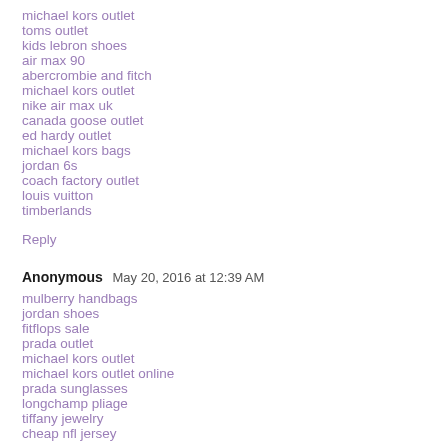michael kors outlet
toms outlet
kids lebron shoes
air max 90
abercrombie and fitch
michael kors outlet
nike air max uk
canada goose outlet
ed hardy outlet
michael kors bags
jordan 6s
coach factory outlet
louis vuitton
timberlands
Reply
Anonymous  May 20, 2016 at 12:39 AM
mulberry handbags
jordan shoes
fitflops sale
prada outlet
michael kors outlet
michael kors outlet online
prada sunglasses
longchamp pliage
tiffany jewelry
cheap nfl jersey